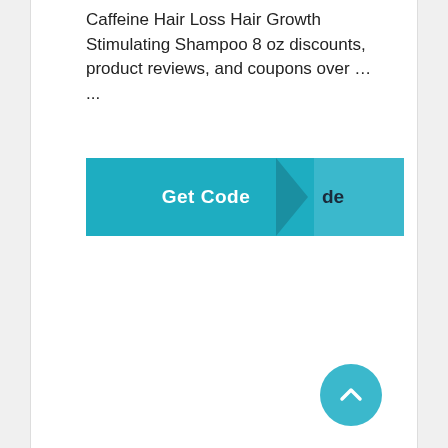Caffeine Hair Loss Hair Growth Stimulating Shampoo 8 oz discounts, product reviews, and coupons over … ...
[Figure (screenshot): A teal/cyan 'Get Code' button with overlapping layers and dark triangle separator, with 'de' text visible on the right overlapping portion]
[Figure (other): Circular teal back-to-top arrow button in bottom right corner]